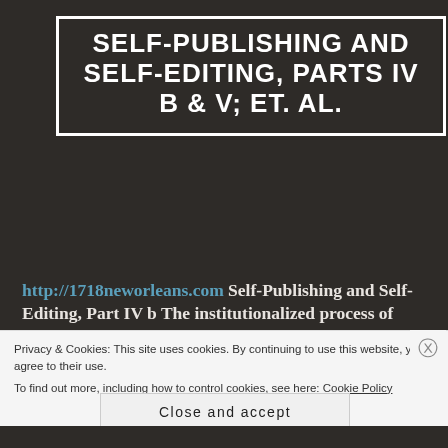SELF-PUBLISHING AND SELF-EDITING, PARTS IV B & V; ET. AL.
http://1718neworleans.com Self-Publishing and Self-Editing, Part IV b The institutionalized process of academic printing has also encapsulated all of the above functions (i.e.
Privacy & Cookies: This site uses cookies. By continuing to use this website, you agree to their use.
To find out more, including how to control cookies, see here: Cookie Policy
Close and accept